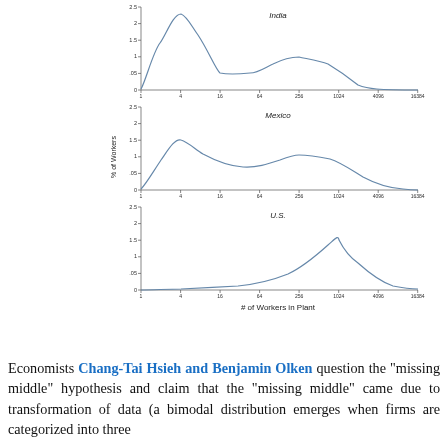[Figure (continuous-plot): Three stacked continuous density plots showing % of Workers vs # of Workers in Plant (log scale: 1, 4, 16, 64, 256, 1024, 4096, 16384) for India (bimodal: peak near 4, smaller peak near 256), Mexico (peak near 4, broad secondary near 256), and U.S. (unimodal peak near 1024). Y-axis: 0 to 2.5. X-axis shared log scale.]
Sources: 1989-1990 ASI-NSS (India), 2003 Economic Census (Mexico), and 1997 Manufacturing Census (U.S.)
Economists Chang-Tai Hsieh and Benjamin Olken question the "missing middle" hypothesis and claim that the "missing middle" came due to transformation of data (a bimodal distribution emerges when firms are categorized into three